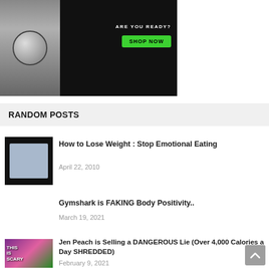[Figure (illustration): Dark advertisement banner with a bathroom scale and a green 'SHOP NOW' button. Text reads 'ARE YOU READY?']
RANDOM POSTS
[Figure (photo): Thumbnail of person on a weight scale]
How to Lose Weight : Stop Emotional Eating
April 22, 2010
Gymshark is FAKING Body Positivity..
March 19, 2021
[Figure (photo): THIS IS SCARY thumbnail with colorful background and person]
Jen Peach is Selling a DANGEROUS Lie (Over 4,000 Calories a Day SHREDDED)
February 9, 2021